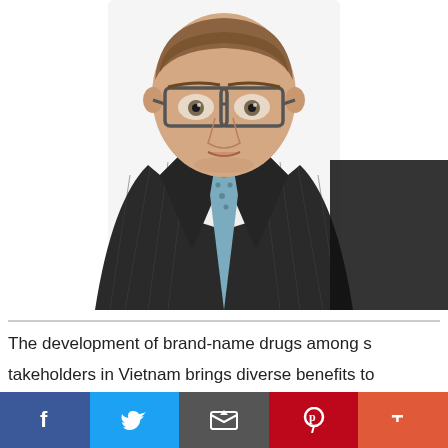[Figure (photo): Professional headshot of a man wearing glasses, a dark pinstripe suit, white dress shirt, and a light blue patterned tie, on a white background.]
The development of brand-name drugs among s takeholders in Vietnam brings diverse benefits to
[Figure (infographic): Social sharing bar with Facebook (blue), Twitter (light blue), Email (dark gray), Pinterest (red), and More (orange-red) buttons.]